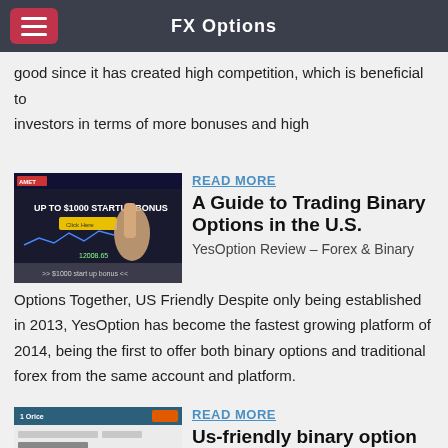FX Options
good since it has created high competition, which is beneficial to investors in terms of more bonuses and high
READ MORE
A Guide to Trading Binary Options in the U.S.
YesOption Review – Forex & Binary Options Together, US Friendly Despite only being established in 2013, YesOption has become the fastest growing platform of 2014, being the first to offer both binary options and traditional forex from the same account and platform.
[Figure (screenshot): Screenshot of a trading platform showing 'UP TO $1000 STARTUP BONUS' promotion with a finger touching a screen]
READ MORE
Us-friendly binary option brokers in France
[Figure (screenshot): Screenshot of a binary options trading platform interface showing various trading pairs and results including -81%]